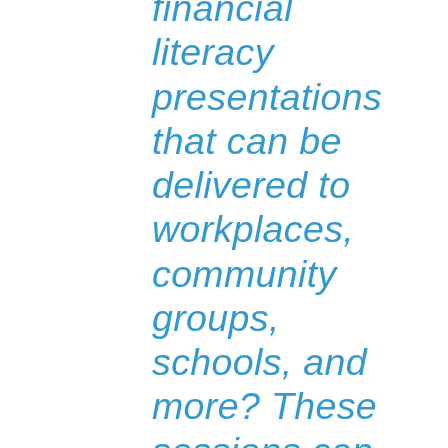financial literacy presentations that can be delivered to workplaces, community groups, schools, and more? These sessions can be targeted towards different audiences (i.e. post-secondary students, entrepreneurs, seniors, New Canadians, etc.). Book your session today!